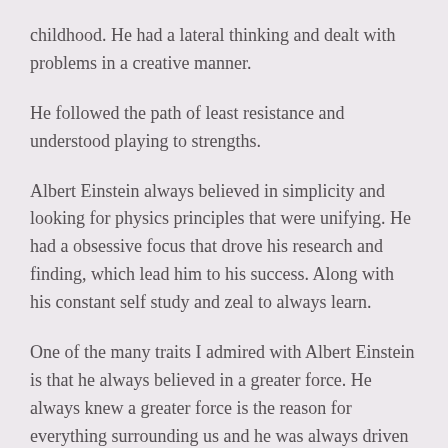childhood. He had a lateral thinking and dealt with problems in a creative manner.
He followed the path of least resistance and understood playing to strengths.
Albert Einstein always believed in simplicity and looking for physics principles that were unifying. He had a obsessive focus that drove his research and finding, which lead him to his success. Along with his constant self study and zeal to always learn.
One of the many traits I admired with Albert Einstein is that he always believed in a greater force. He always knew a greater force is the reason for everything surrounding us and he was always driven by this train of thought.